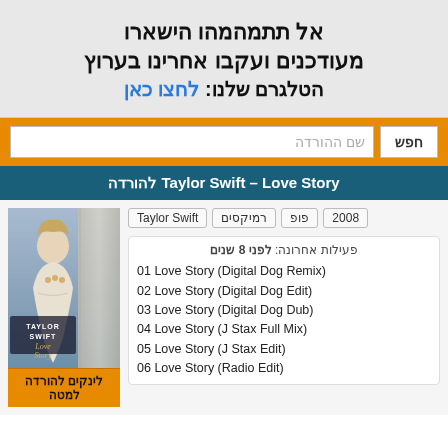אל תתמהמהו הישארו מעודכנים ועקבו אחרינו בערוץ הטלגרם שלנו: לחצו כאן
שם ההורדה
חפש
Taylor Swift – Love Story להורדה
Taylor Swift | רמיקסים | פופ | 2008
פעילות אחרונה: לפני 8 שנים
01 Love Story (Digital Dog Remix)
02 Love Story (Digital Dog Edit)
03 Love Story (Digital Dog Dub)
04 Love Story (J Stax Full Mix)
05 Love Story (J Stax Edit)
06 Love Story (Radio Edit)
[Figure (photo): Taylor Swift Love Story album cover photo]
לינקים להורדה למטה